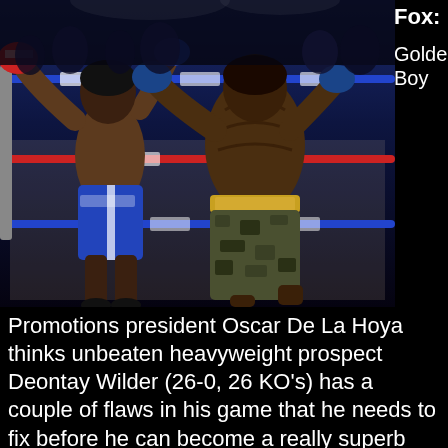[Figure (photo): Boxing match photo showing two fighters in a ring. One fighter in blue shorts with Everlast branding throwing a punch, the other fighter in camouflage shorts with a gold belt facing away from the camera. Blue ropes visible on the ring.]
Fox: Golden Boy
Promotions president Oscar De La Hoya thinks unbeaten heavyweight prospect Deontay Wilder (26-0, 26 KO's) has a couple of flaws in his game that he needs to fix before he can become a really superb heavyweight and move onto to capture a world title. De La Hoya told RingTV that